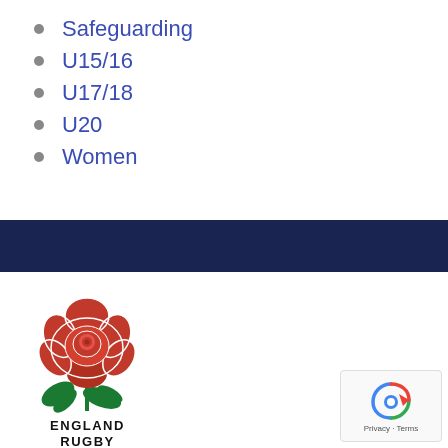Safeguarding
U15/16
U17/18
U20
Women
[Figure (logo): England Rugby red rose logo with text ENGLAND RUGBY below]
[Figure (other): reCAPTCHA badge with Privacy and Terms text]